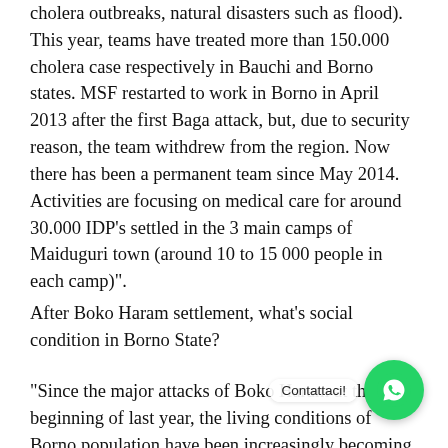cholera outbreaks, natural disasters such as flood). This year, teams have treated more than 150.000 cholera case respectively in Bauchi and Borno states. MSF restarted to work in Borno in April 2013 after the first Baga attack, but, due to security reason, the team withdrew from the region. Now there has been a permanent team since May 2014. Activities are focusing on medical care for around 30.000 IDP's settled in the 3 main camps of Maiduguri town (around 10 to 15 000 people in each camp)".
After Boko Haram settlement, what's social condition in Borno State?
“Since the major attacks of Boko Haram at the beginning of last year, the living conditions of Borno population have been increasingly becoming miserable. People